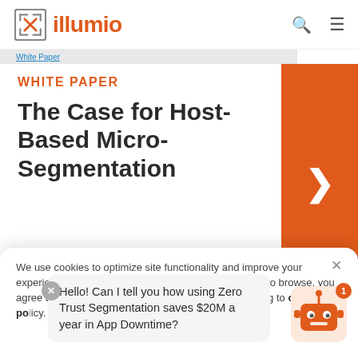illumio
WHITE PAPER
The Case for Host-Based Micro-Segmentation
We use cookies to optimize site functionality and improve your experience. By clicking "Accept" cookies or continuing to browse, you agree to the storing of cookies on your device according to our cookie policy.
Hello! Can I tell you how using Zero Trust Segmentation saves $20M a year in App Downtime?